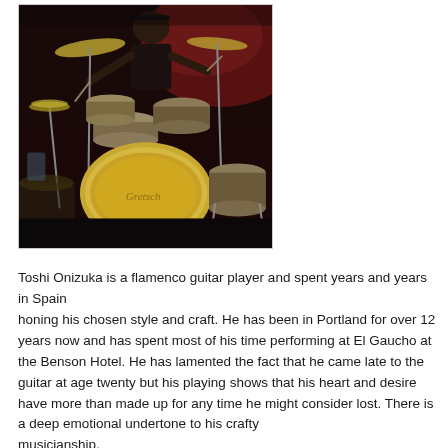[Figure (photo): A drummer playing a Gretsch drum kit in a dimly lit venue with red ambient lighting in the background. The drummer is wearing dark clothing and a cap.]
Toshi Onizuka is a flamenco guitar player and spent years and years in Spain honing his chosen style and craft. He has been in Portland for over 12 years now and has spent most of his time performing at El Gaucho at the Benson Hotel. He has lamented the fact that he came late to the guitar at age twenty but his playing shows that his heart and desire have more than made up for any time he might consider lost. There is a deep emotional undertone to his crafty musicianship.